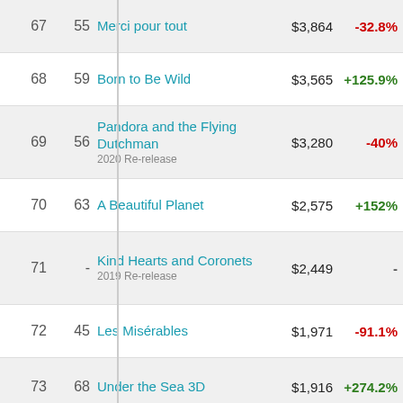| Rank | Prev | Title | Gross | Change |
| --- | --- | --- | --- | --- |
| 67 | 55 | Merci pour tout | $3,864 | -32.8% |
| 68 | 59 | Born to Be Wild | $3,565 | +125.9% |
| 69 | 56 | Pandora and the Flying Dutchman 2020 Re-release | $3,280 | -40% |
| 70 | 63 | A Beautiful Planet | $2,575 | +152% |
| 71 | - | Kind Hearts and Coronets 2019 Re-release | $2,449 | - |
| 72 | 45 | Les Misérables | $1,971 | -91.1% |
| 73 | 68 | Under the Sea 3D | $1,916 | +274.2% |
| 74 | 61 | Varda by Agnès | $997 | -23.7% |